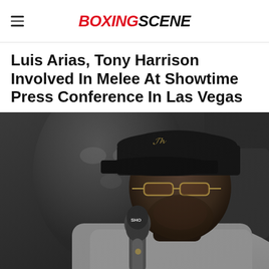BOXINGSCENE
Luis Arias, Tony Harrison Involved In Melee At Showtime Press Conference In Las Vegas
[Figure (photo): A man wearing a black cap with gold script lettering and gold-rimmed glasses speaking into a Showtime microphone at a press conference, wearing a grey hoodie. A large blurred portrait is visible in the background.]